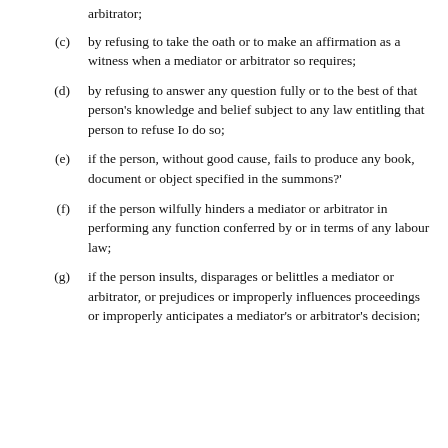arbitrator;
(c) by refusing to take the oath or to make an affirmation as a witness when a mediator or arbitrator so requires;
(d) by refusing to answer any question fully or to the best of that person’s knowledge and belief subject to any law entitling that person to refuse Io do so;
(e) if the person, without good cause, fails to produce any book, document or object specified in the summons?'
(f) if the person wilfully hinders a mediator or arbitrator in performing any function conferred by or in terms of any labour law;
(g) if the person insults, disparages or belittles a mediator or arbitrator, or prejudices or improperly influences proceedings or improperly anticipates a mediator’s or arbitrator’s decision;